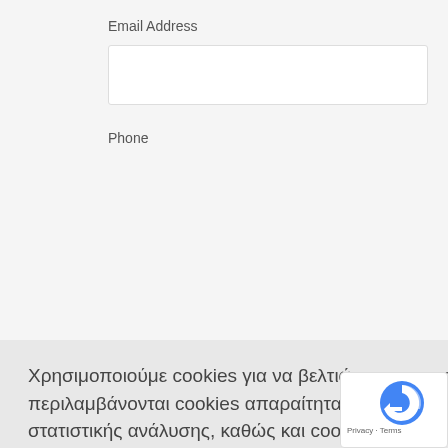Email Address
Phone
Χρησιμοποιούμε cookies για να βελτιώσουμε την εμπειρία σας στον ιστότοπο crystalEngine. Σε αυτά περιλαμβάνονται cookies απαραίτητα για τις βασικές λειτουργίες του δικτυακού μας τόπου, cookies στατιστικής ανάλυσης, καθώς και cookies που μας βοηθούν να παρέχουμε περιεχόμενο προσαρμοσμένο στις προτιμήσεις σας. Διαβάστε περισσότερα
Συμφωνώ!